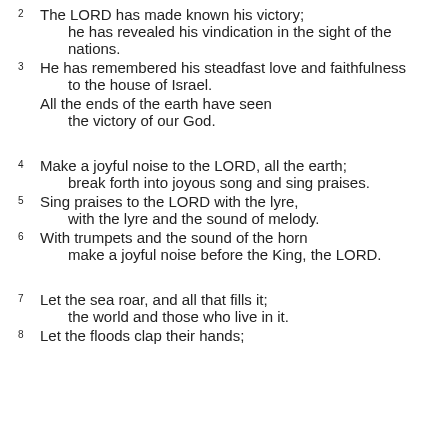2 The LORD has made known his victory;
    he has revealed his vindication in the sight of the nations.
3 He has remembered his steadfast love and faithfulness
    to the house of Israel.
  All the ends of the earth have seen
    the victory of our God.
4 Make a joyful noise to the LORD, all the earth;
    break forth into joyous song and sing praises.
5 Sing praises to the LORD with the lyre,
    with the lyre and the sound of melody.
6 With trumpets and the sound of the horn
    make a joyful noise before the King, the LORD.
7 Let the sea roar, and all that fills it;
    the world and those who live in it.
8 Let the floods clap their hands;